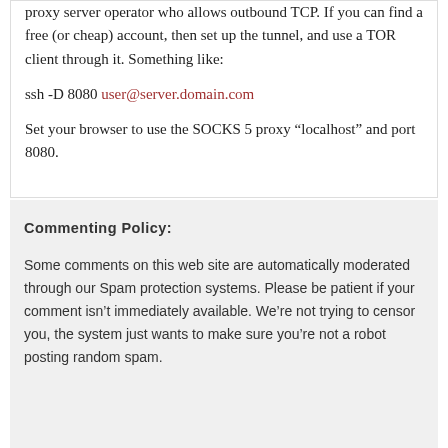proxy server operator who allows outbound TCP. If you can find a free (or cheap) account, then set up the tunnel, and use a TOR client through it. Something like:
ssh -D 8080 user@server.domain.com
Set your browser to use the SOCKS 5 proxy "localhost" and port 8080.
Commenting Policy:
Some comments on this web site are automatically moderated through our Spam protection systems. Please be patient if your comment isn't immediately available. We're not trying to censor you, the system just wants to make sure you're not a robot posting random spam.